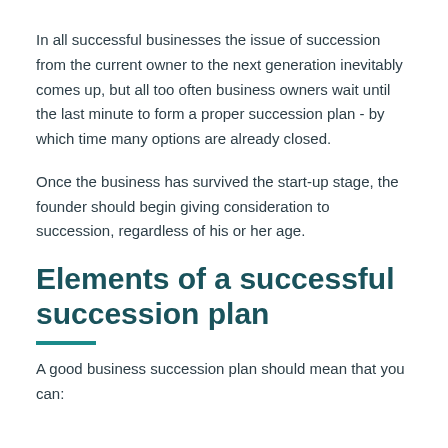In all successful businesses the issue of succession from the current owner to the next generation inevitably comes up, but all too often business owners wait until the last minute to form a proper succession plan - by which time many options are already closed.
Once the business has survived the start-up stage, the founder should begin giving consideration to succession, regardless of his or her age.
Elements of a successful succession plan
A good business succession plan should mean that you can: